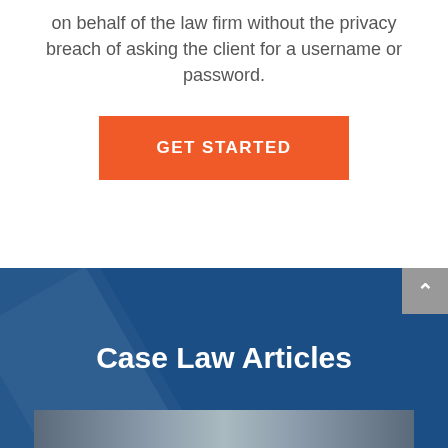on behalf of the law firm without the privacy breach of asking the client for a username or password.
GET STARTED
Case Law Articles
[Figure (photo): Partial photo strip visible at the bottom of the page showing a photograph, partially cropped]